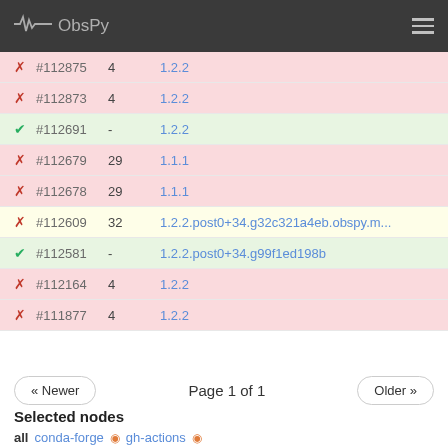ObsPy
| status | id | num | version |
| --- | --- | --- | --- |
| ✗ | #112875 | 4 | 1.2.2 |
| ✗ | #112873 | 4 | 1.2.2 |
| ✓ | #112691 | - | 1.2.2 |
| ✗ | #112679 | 29 | 1.1.1 |
| ✗ | #112678 | 29 | 1.1.1 |
| ✗ | #112609 | 32 | 1.2.2.post0+34.g32c321a4eb.obspy.m... |
| ✓ | #112581 | - | 1.2.2.post0+34.g99f1ed198b |
| ✗ | #112164 | 4 | 1.2.2 |
| ✗ | #111877 | 4 | 1.2.2 |
Page 1 of 1
Selected nodes
all  conda-forge  gh-actions
System